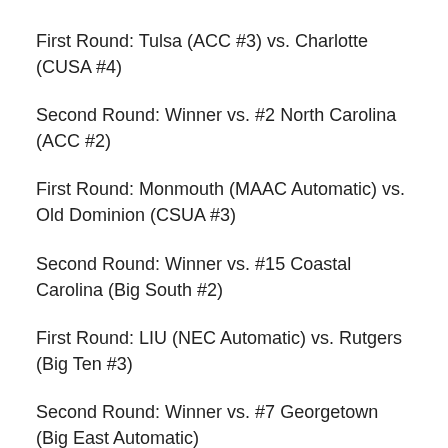First Round: Tulsa (ACC #3) vs. Charlotte (CUSA #4)
Second Round: Winner vs. #2 North Carolina (ACC #2)
First Round: Monmouth (MAAC Automatic) vs. Old Dominion (CSUA #3)
Second Round: Winner vs. #15 Coastal Carolina (Big South #2)
First Round: LIU (NEC Automatic) vs. Rutgers (Big Ten #3)
Second Round: Winner vs. #7 Georgetown (Big East Automatic)
First Round: Colgate (Patriot Automatic) vs. Maryland